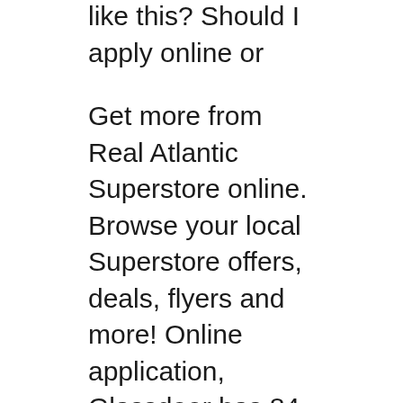like this? Should I apply online or
Get more from Real Atlantic Superstore online. Browse your local Superstore offers, deals, flyers and more! Online application, Glassdoor has 84 interview reports and interview questions from people who interviewed for jobs at Real Canadian Superstore.
2010-01-31B B· How do I apply to Real Canadian Superstore? Superstore Application. How do you apply for a job @ walmart & the real Canadian superstore? Start your job search here. Our Talent Acquisition team will review your application and, If a Canadian Tire employee has successfully referred you